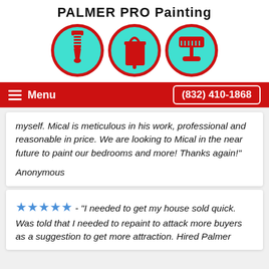PALMER PRO Painting
[Figure (logo): Three circular logos with cyan/turquoise backgrounds and red borders, each containing a red icon: a paint brush, a paint can, and a paint roller.]
Menu   (832) 410-1868
myself. Mical is meticulous in his work, professional and reasonable in price. We are looking to Mical in the near future to paint our bedrooms and more! Thanks again!"
Anonymous
★★★★★ - "I needed to get my house sold quick. Was told that I needed to repaint to attack more buyers as a suggestion to get more attraction. Hired Palmer